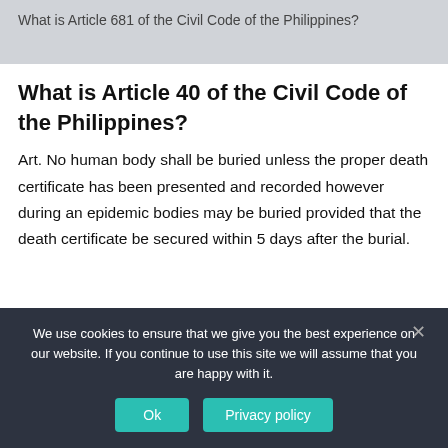What is Article 681 of the Civil Code of the Philippines?
What is Article 40 of the Civil Code of the Philippines?
Art. No human body shall be buried unless the proper death certificate has been presented and recorded however during an epidemic bodies may be buried provided that the death certificate be secured within 5 days after the burial.
We use cookies to ensure that we give you the best experience on our website. If you continue to use this site we will assume that you are happy with it.